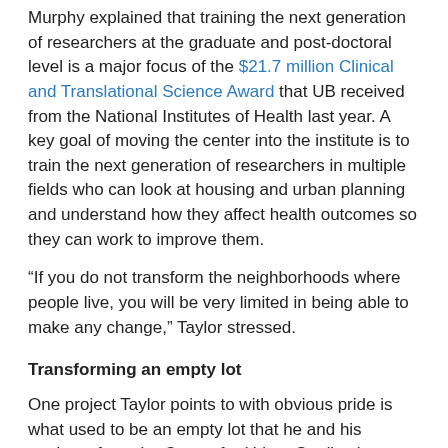Murphy explained that training the next generation of researchers at the graduate and post-doctoral level is a major focus of the $21.7 million Clinical and Translational Science Award that UB received from the National Institutes of Health last year. A key goal of moving the center into the institute is to train the next generation of researchers in multiple fields who can look at housing and urban planning and understand how they affect health outcomes so they can work to improve them.
“If you do not transform the neighborhoods where people live, you will be very limited in being able to make any change,” Taylor stressed.
Transforming an empty lot
One project Taylor points to with obvious pride is what used to be an empty lot that he and his students from the Center for Urban Studies began transforming about 15 years ago. The lot was across from Futures Academy, also known as PS 37 Marva J. Daniel Futures Prep, an elementary/junior high school on Buffalo’s East Side
“The idea with that project was to demonstrate that we have the